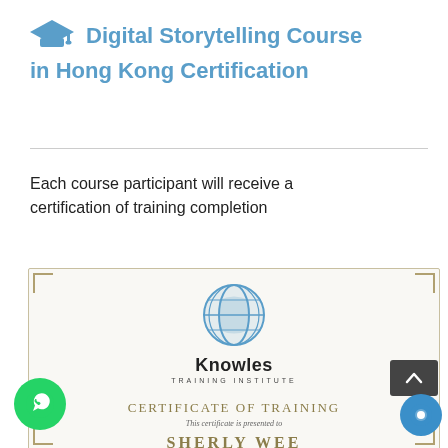Digital Storytelling Course in Hong Kong Certification
Each course participant will receive a certification of training completion
[Figure (photo): Certificate of Training from Knowles Training Institute made out to Sherly Wee, with a globe logo, decorative border, and gold/tan text styling.]